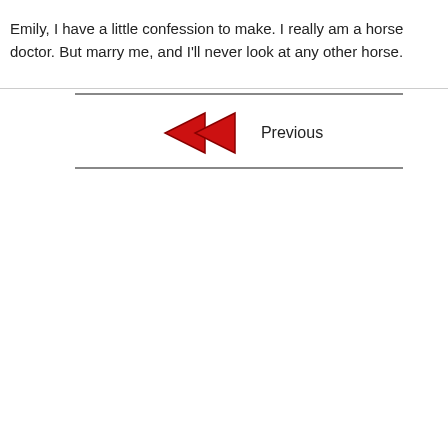Emily, I have a little confession to make. I really am a horse doctor. But marry me, and I'll never look at any other horse.
[Figure (other): Navigation element with a red left-pointing arrow and the label 'Previous', flanked by horizontal gray separator lines above and below.]